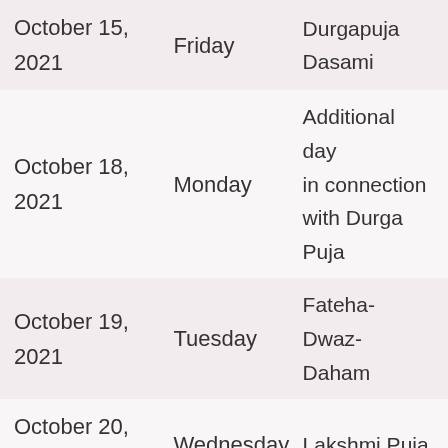| Date | Day | Holiday |
| --- | --- | --- |
| October 15, 2021 | Friday | Durgapuja Dasami |
| October 18, 2021 | Monday | Additional day in connection with Durga Puja |
| October 19, 2021 | Tuesday | Fateha-Dwaz-Daham |
| October 20, 2021 | Wednesday | Lakshmi Puja |
|  |  | Additional day |